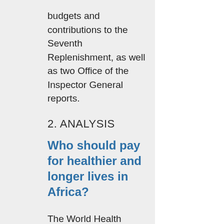budgets and contributions to the Seventh Replenishment, as well as two Office of the Inspector General reports.
2. ANALYSIS
Who should pay for healthier and longer lives in Africa?
The World Health Assembly taking place in late May hosted a side event, a roundtable media webinar on who should pay for better health in Africa. The five high-level speakers and good